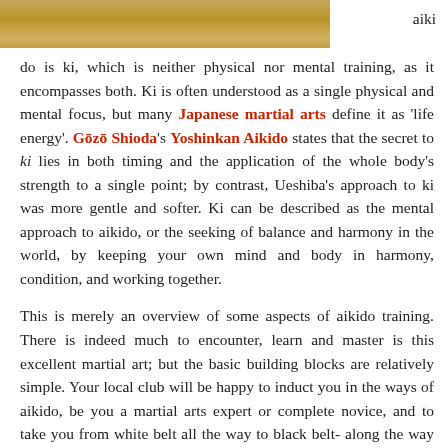[Figure (photo): Partial image of a golden/tan surface, likely a dojo floor or wooden surface, cropped at the top of the page.]
aiki do is ki, which is neither physical nor mental training, as it encompasses both. Ki is often understood as a single physical and mental focus, but many Japanese martial arts define it as 'life energy'. Gōzō Shioda's Yoshinkan Aikido states that the secret to ki lies in both timing and the application of the whole body's strength to a single point; by contrast, Ueshiba's approach to ki was more gentle and softer. Ki can be described as the mental approach to aikido, or the seeking of balance and harmony in the world, by keeping your own mind and body in harmony, condition, and working together.
This is merely an overview of some aspects of aikido training. There is indeed much to encounter, learn and master is this excellent martial art; but the basic building blocks are relatively simple. Your local club will be happy to induct you in the ways of aikido, be you a martial arts expert or complete novice, and to take you from white belt all the way to black belt- along the way you will get